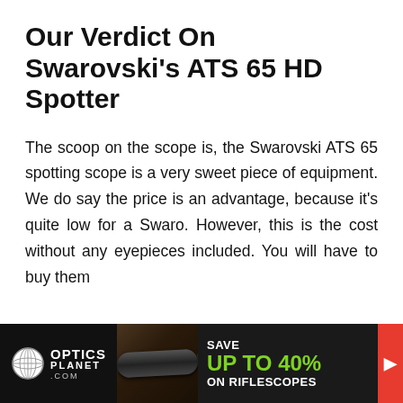Our Verdict On Swarovski's ATS 65 HD Spotter
The scoop on the scope is, the Swarovski ATS 65 spotting scope is a very sweet piece of equipment. We do say the price is an advantage, because it's quite low for a Swaro. However, this is the cost without any eyepieces included. You will have to buy them
[Figure (other): OpticsPlanet.com advertisement banner: logo with globe icon, image of riflescopes, text 'SAVE UP TO 40% ON RIFLESCOPES' with green and white text on dark background, red arrow button on right]